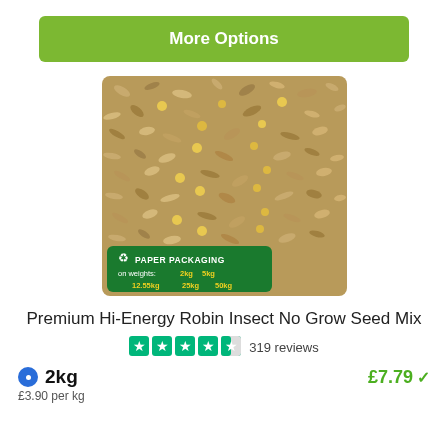More Options
[Figure (photo): Product photo of mixed bird seeds (tan, brown, yellow seeds) with a green 'Paper Packaging' badge overlay showing weights: 2kg, 5kg, 12.55kg, 25kg, 50kg]
Premium Hi-Energy Robin Insect No Grow Seed Mix
319 reviews
2kg
£7.79
£3.90 per kg